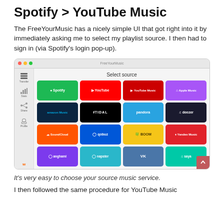Spotify > YouTube Music
The FreeYourMusic has a nicely simple UI that got right into it by immediately asking me to select my playlist source. I then had to sign in (via Spotify's login pop-up).
[Figure (screenshot): Screenshot of FreeYourMusic app showing 'Select source' screen with a grid of music service tiles: Spotify, YouTube, YouTube Music, Apple Music, Amazon Music, TIDAL, Pandora, Deezer, SoundCloud, Qobuz, Boom, Yandex Music, Anghami, Napster, VK, Saya]
It's very easy to choose your source music service.
I then followed the same procedure for YouTube Music